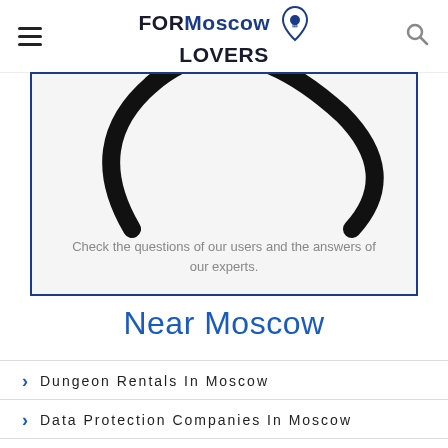FOR Moscow LOVERS
[Figure (illustration): Partial view of a speech bubble / Q&A icon drawn in black on light gray background, with blue border]
Check the questions of our users and the answers of our experts.
Near Moscow
Dungeon Rentals In Moscow
Data Protection Companies In Moscow
Dry Cleaners In Moscow